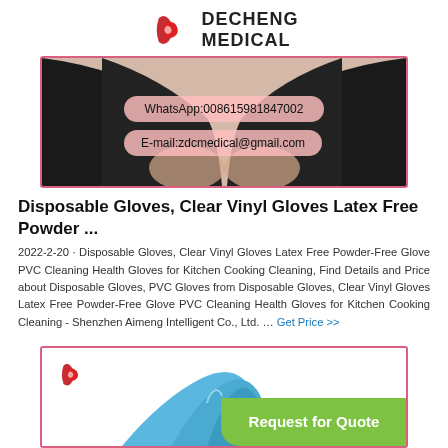DECHENG MEDICAL
[Figure (photo): Black disposable gloves on hands with WhatsApp and email contact badges overlaid]
Disposable Gloves, Clear Vinyl Gloves Latex Free Powder ...
2022-2-20 · Disposable Gloves, Clear Vinyl Gloves Latex Free Powder-Free Glove PVC Cleaning Health Gloves for Kitchen Cooking Cleaning, Find Details and Price about Disposable Gloves, PVC Gloves from Disposable Gloves, Clear Vinyl Gloves Latex Free Powder-Free Glove PVC Cleaning Health Gloves for Kitchen Cooking Cleaning - Shenzhen Aimeng Intelligent Co., Ltd. … Get Price >>
[Figure (photo): Bottom card with Decheng Medical logo, blue glove image, and Request for Quote button]